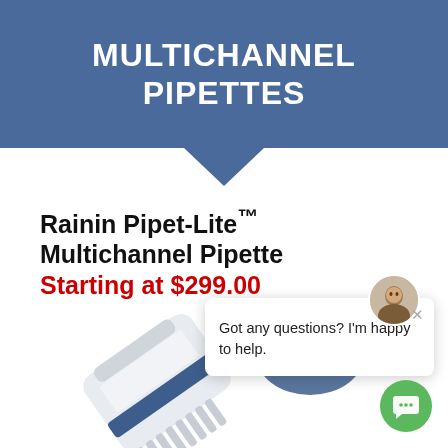MULTICHANNEL PIPETTES
Rainin Pipet-Lite™ Multichannel Pipette
Starting at $299.00
[Figure (screenshot): Chat support popup with avatar of a male agent and message: 'Got any questions? I'm happy to help.']
[Figure (photo): Rainin Pipet-Lite multichannel pipette shown at an angle, white/grey body with blue accents and multiple tips]